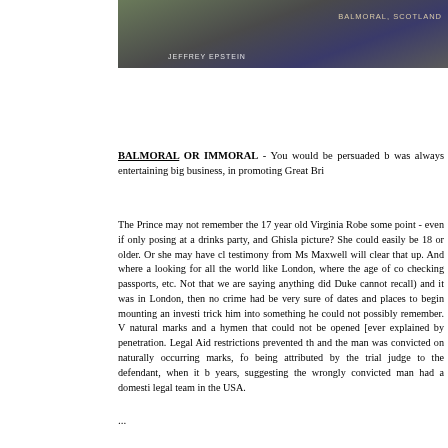[Figure (photo): Photograph showing two people, with text overlay reading 'JEFFREY EPSTEIN' on the left and 'BALMORAL, SCOTLAND' on the right side of the image.]
BALMORAL OR IMMORAL - You would be persuaded b was always entertaining big business, in promoting Great Bri
The Prince may not remember the 17 year old Virginia Robe some point - even if only posing at a drinks party, and Ghisla picture? She could easily be 18 or older. Or she may have cl testimony from Ms Maxwell will clear that up. And where a looking for all the world like London, where the age of co checking passports, etc. Not that we are saying anything did Duke cannot recall) and it was in London, then no crime had be very sure of dates and places to begin mounting an investi trick him into something he could not possibly remember. V natural marks and a hymen that could not be opened [ever explained by penetration. Legal Aid restrictions prevented th and the man was convicted on naturally occurring marks, fo being attributed by the trial judge to the defendant, when it b years, suggesting the wrongly convicted man had a domesti legal team in the USA.
...